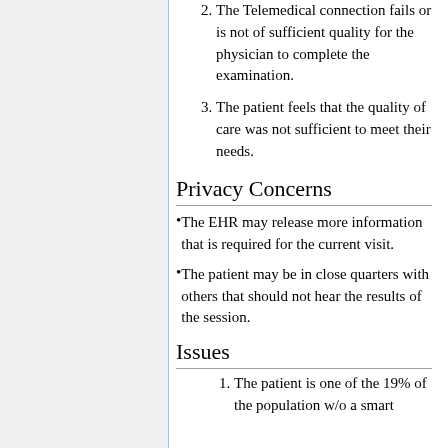2. The Telemedical connection fails or is not of sufficient quality for the physician to complete the examination.
3. The patient feels that the quality of care was not sufficient to meet their needs.
Privacy Concerns
The EHR may release more information that is required for the current visit.
The patient may be in close quarters with others that should not hear the results of the session.
Issues
1. The patient is one of the 19% of the population w/o a smart